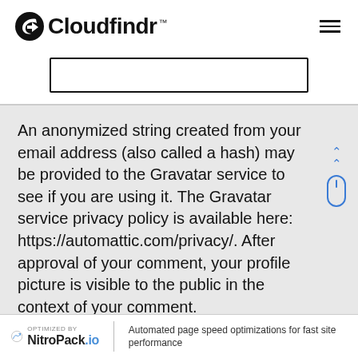Cloudfindr™
[Figure (other): Empty search input box, rectangular outline]
An anonymized string created from your email address (also called a hash) may be provided to the Gravatar service to see if you are using it. The Gravatar service privacy policy is available here: https://automattic.com/privacy/. After approval of your comment, your profile picture is visible to the public in the context of your comment.
OPTIMIZED BY NitroPack.io Automated page speed optimizations for fast site performance